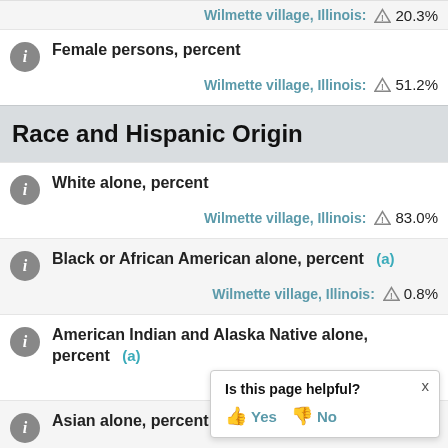Wilmette village, Illinois: ⚠ 20.3%
Female persons, percent
Wilmette village, Illinois: ⚠ 51.2%
Race and Hispanic Origin
White alone, percent
Wilmette village, Illinois: ⚠ 83.0%
Black or African American alone, percent (a)
Wilmette village, Illinois: ⚠ 0.8%
American Indian and Alaska Native alone, percent (a)
Wilmette village, Illinois: ⚠ 0.1%
Asian alone, percent (a)
Wilmette village, Illinois: ⚠ ...
Is this page helpful? Yes No